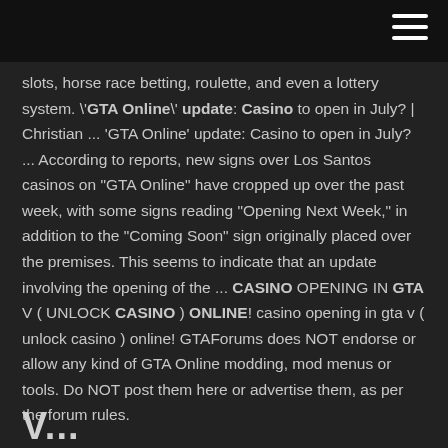slots, horse race betting, roulette, and even a lottery system. \'GTA Online\' update: Casino to open in July? | Christian ... 'GTA Online' update: Casino to open in July? ... According to reports, new signs over Los Santos casinos on "GTA Online" have cropped up over the past week, with some signs reading "Opening Next Week," in addition to the "Coming Soon" sign originally placed over the premises. This seems to indicate that an update involving the opening of the ... CASINO OPENING IN GTA V ( UNLOCK CASINO ) ONLINE! casino opening in gta v ( unlock casino ) online! GTAForums does NOT endorse or allow any kind of GTA Online modding, mod menus or tools. Do NOT post them here or advertise them, as per the forum rules.
V...